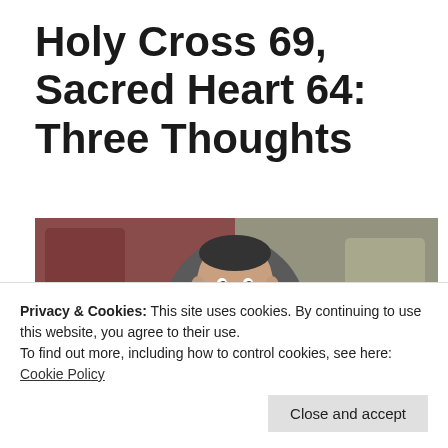Holy Cross 69, Sacred Heart 64: Three Thoughts
[Figure (photo): A basketball coach in a grey suit and patterned tie pointing or gesturing on the sideline, with a blurred crowd in red seating behind him.]
Privacy & Cookies: This site uses cookies. By continuing to use this website, you agree to their use.
To find out more, including how to control cookies, see here: Cookie Policy
Close and accept